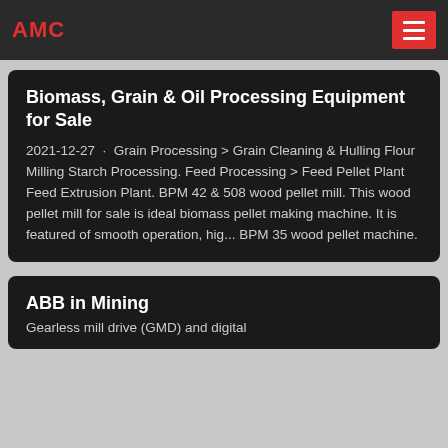AMC
Biomass, Grain & Oil Processing Equipment for Sale
2021-12-27 · Grain Processing > Grain Cleaning & Hulling Flour Milling Starch Processing. Feed Processing > Feed Pellet Plant Feed Extrusion Plant. BPM 42 & 508 wood pellet mill. This wood pellet mill for sale is ideal biomass pellet making machine. It is featured of smooth operation, hig... BPM 35 wood pellet machine.
ABB in Mining
Gearless mill drive (GMD) and digital